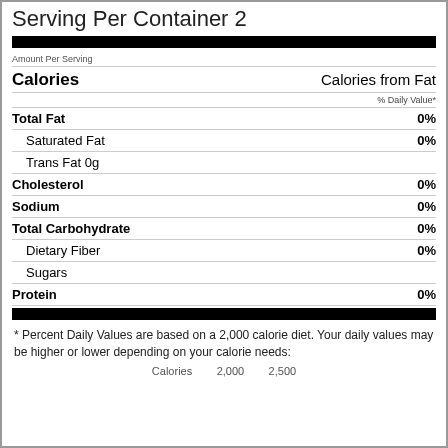Serving Per Container 2
Amount Per Serving
Calories  Calories from Fat
% Daily Value*
| Nutrient | % Daily Value |
| --- | --- |
| Total Fat | 0% |
| Saturated Fat | 0% |
| Trans Fat 0g |  |
| Cholesterol | 0% |
| Sodium | 0% |
| Total Carbohydrate | 0% |
| Dietary Fiber | 0% |
| Sugars |  |
| Protein | 0% |
* Percent Daily Values are based on a 2,000 calorie diet. Your daily values may be higher or lower depending on your calorie needs:
Calories  2,000  2,500